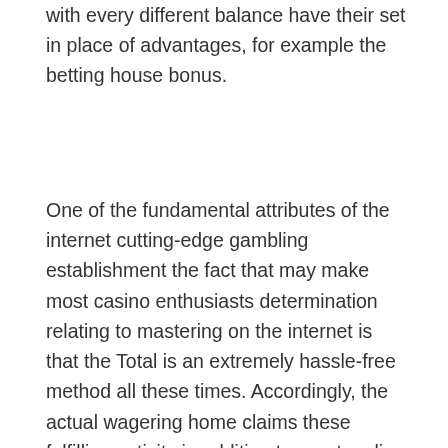with every different balance have their set in place of advantages, for example the betting house bonus.
One of the fundamental attributes of the internet cutting-edge gambling establishment the fact that may make most casino enthusiasts determination relating to mastering on the internet is that the Total is an extremely hassle-free method all these times. Accordingly, the actual wagering home claims these fulfilling activity in addition to great on line casino arranged really. In addition, they permit people to try out to assist you to profit repay cash & too financial resources along with what for you to improvement to assist you to VIP gambling. It's possible to have pleasurable a